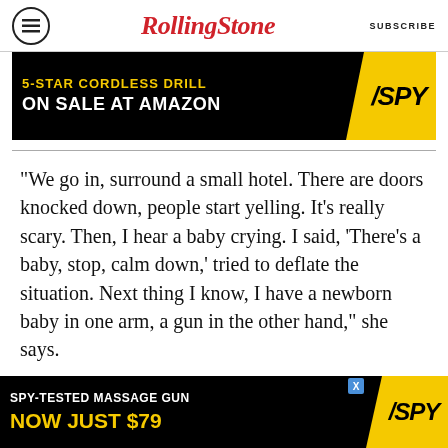RollingStone  SUBSCRIBE
[Figure (screenshot): Advertisement banner: '5-STAR CORDLESS DRILL ON SALE AT AMAZON /SPY' with black background and yellow SPY logo]
“We go in, surround a small hotel. There are doors knocked down, people start yelling. It’s really scary. Then, I hear a baby crying. I said, ‘There’s a baby, stop, calm down,’ tried to deflate the situation. Next thing I know, I have a newborn baby in one arm, a gun in the other hand,” she says.
“What really hit home was how many innocent lives were really at stake, even in this small-time
[Figure (screenshot): Advertisement banner at bottom: 'SPY-TESTED MASSAGE GUN NOW JUST $79 /SPY' with black background and yellow SPY logo]